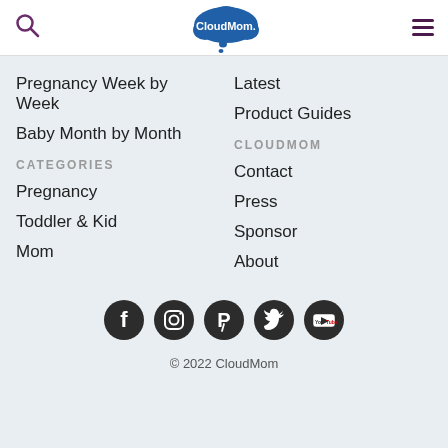CloudMom navigation header
Pregnancy Week by Week
Baby Month by Month
CATEGORIES
Pregnancy
Toddler & Kid
Mom
Latest
Product Guides
CLOUDMOM
Contact
Press
Sponsor
About
[Figure (infographic): Social media icons row: Facebook, Instagram, Pinterest, Twitter, YouTube]
© 2022 CloudMom